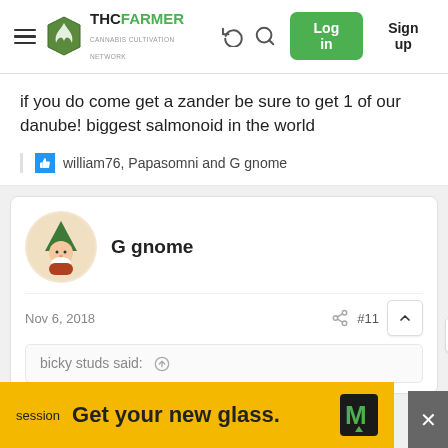THC FARMER — Cannabis Cultivation Network — Log in — Sign up
if you do come get a zander be sure to get 1 of our danube! biggest salmonoid in the world
william76, Papasomni and G gnome
G gnome
Nov 6, 2018
#11
bicky studs said:
session  Get your new glass.